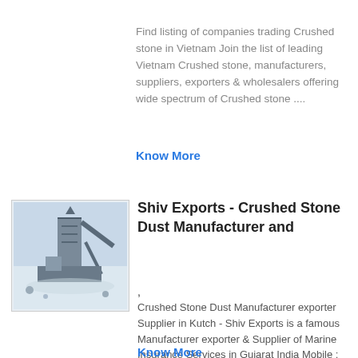Find listing of companies trading Crushed stone in Vietnam Join the list of leading Vietnam Crushed stone, manufacturers, suppliers, exporters & wholesalers offering wide spectrum of Crushed stone ....
Know More
[Figure (photo): Photo of a stone crusher / quarry machinery with dust and equipment in an outdoor setting]
Shiv Exports - Crushed Stone Dust Manufacturer and
,
Crushed Stone Dust Manufacturer exporter Supplier in Kutch - Shiv Exports is a famous Manufacturer exporter & Supplier of Marine Insurance Services in Gujarat India Mobile : +91-9313799734, +91-9924459943 GST No 24MSLPS3386L1ZP Send SMS Send Email Home; About ....
Know More